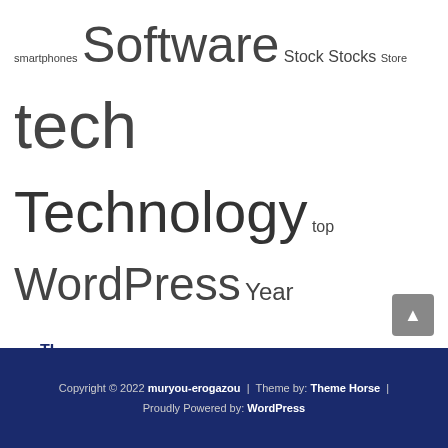smartphones Software Stock Stocks Store tech Technology top WordPress Year
— TL
— Partner links
— Partner links
Digital Marketing
Copyright © 2022 muryou-erogazou | Theme by: Theme Horse | Proudly Powered by: WordPress